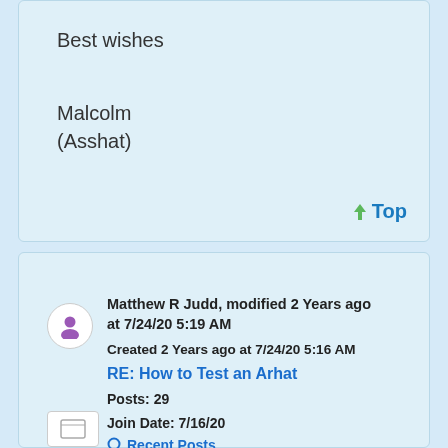Best wishes

Malcolm
(Asshat)
↑ Top
Matthew R Judd, modified 2 Years ago at 7/24/20 5:19 AM
Created 2 Years ago at 7/24/20 5:16 AM
RE: How to Test an Arhat
Posts: 29
Join Date: 7/16/20
Recent Posts